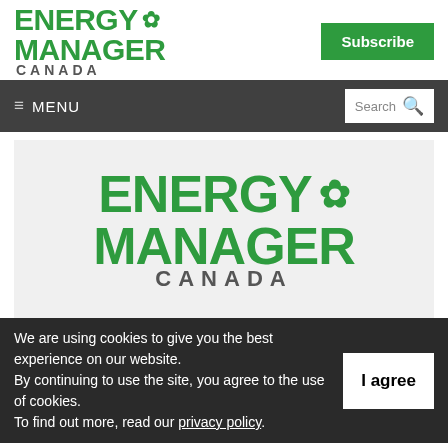ENERGY MANAGER CANADA
Subscribe
≡ MENU
Search
[Figure (logo): Energy Manager Canada logo — large version in grey banner. Bold green text reading ENERGY MANAGER with a maple leaf icon, and CANADA in grey spaced capitals below.]
We are using cookies to give you the best experience on our website.
By continuing to use the site, you agree to the use of cookies.
To find out more, read our privacy policy.
I agree